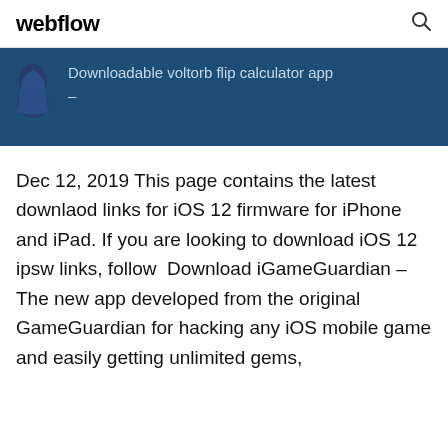webflow
Downloadable voltorb flip calculator app
Dec 12, 2019 This page contains the latest downlaod links for iOS 12 firmware for iPhone and iPad. If you are looking to download iOS 12 ipsw links, follow  Download iGameGuardian – The new app developed from the original GameGuardian for hacking any iOS mobile game and easily getting unlimited gems,